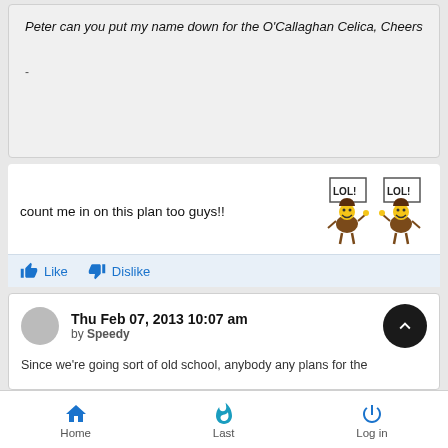Peter can you put my name down for the O'Callaghan Celica, Cheers
-
count me in on this plan too guys!!
[Figure (illustration): Two LOL emoji pixel-art characters holding signs that read LOL!]
Like  Dislike
Thu Feb 07, 2013 10:07 am
by Speedy
Since we're going sort of old school, anybody any plans for the
Home  Last  Log in